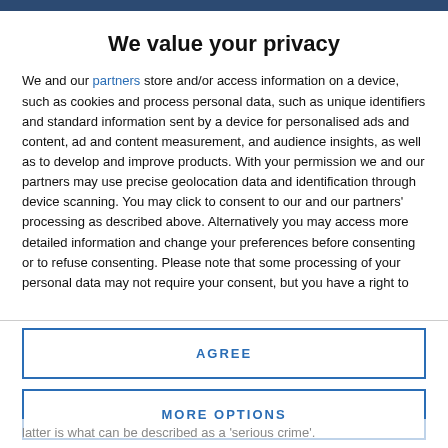We value your privacy
We and our partners store and/or access information on a device, such as cookies and process personal data, such as unique identifiers and standard information sent by a device for personalised ads and content, ad and content measurement, and audience insights, as well as to develop and improve products. With your permission we and our partners may use precise geolocation data and identification through device scanning. You may click to consent to our and our partners' processing as described above. Alternatively you may access more detailed information and change your preferences before consenting or to refuse consenting. Please note that some processing of your personal data may not require your consent, but you have a right to
AGREE
MORE OPTIONS
latter is what can be described as a 'serious crime'.